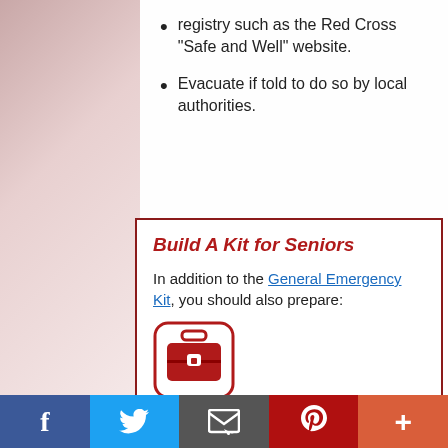registry such as the Red Cross “Safe and Well” website.
Evacuate if told to do so by local authorities.
Build A Kit for Seniors
In addition to the General Emergency Kit, you should also prepare:
[Figure (illustration): Red briefcase/kit bag icon inside a rounded square border in red]
Facebook | Twitter | Email | Pinterest | More